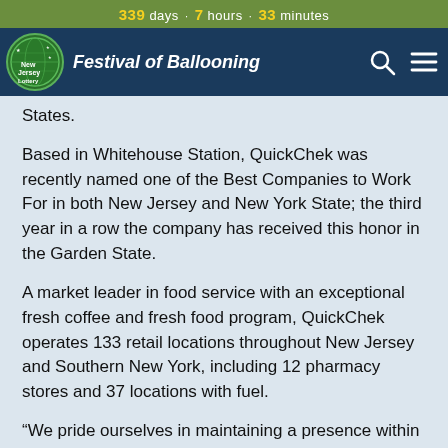339 days · 7 hours · 33 minutes
Festival of Ballooning
States.
Based in Whitehouse Station, QuickChek was recently named one of the Best Companies to Work For in both New Jersey and New York State; the third year in a row the company has received this honor in the Garden State.
A market leader in food service with an exceptional fresh coffee and fresh food program, QuickChek operates 133 retail locations throughout New Jersey and Southern New York, including 12 pharmacy stores and 37 locations with fuel.
“We pride ourselves in maintaining a presence within the communities we serve. It is this sense of community that makes our organization proud to be part of the Festival